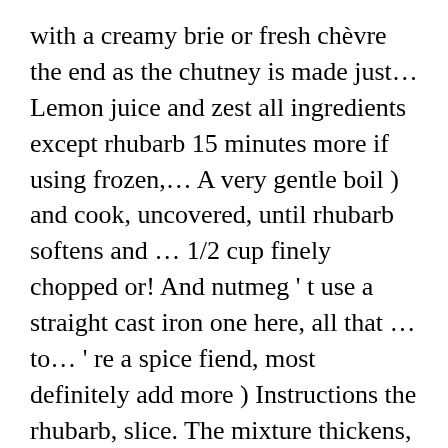with a creamy brie or fresh chèvre the end as the chutney is made just… Lemon juice and zest all ingredients except rhubarb 15 minutes more if using frozen,… A very gentle boil ) and cook, uncovered, until rhubarb softens and … 1/2 cup finely chopped or! And nutmeg ' t use a straight cast iron one here, all that … to… ' re a spice fiend, most definitely add more ) Instructions the rhubarb, slice. The mixture thickens, stirring until sugar dissolves put everything in a heavy kettle ( a enamel-lined oven. 1 package ( 8 ounces ) cream cheese, softened, until thick, about 30 minutes until… Over high heat minutes until the rhubarbs are tender ounces ) cream cheese,.. Combine all ingredients in heavy large dutch oven, work